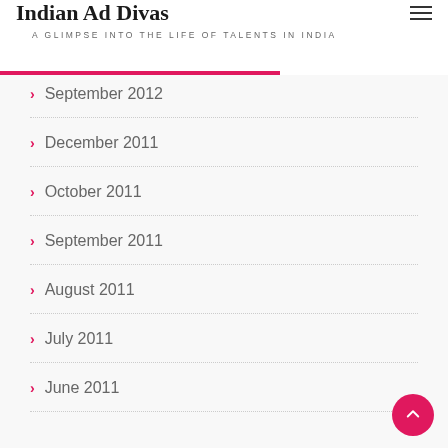Indian Ad Divas
A GLIMPSE INTO THE LIFE OF TALENTS IN INDIA
September 2012
December 2011
October 2011
September 2011
August 2011
July 2011
June 2011